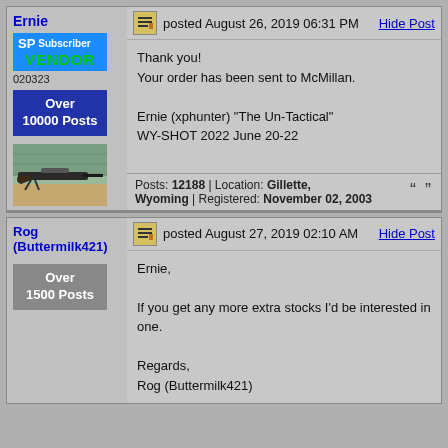Ernie
SP Subscriber VENDOR 020323
Over 10000 Posts
[Figure (photo): Photo of a rifle on a wooden surface outdoors]
posted August 26, 2019 06:31 PM
Hide Post
Thank you!
Your order has been sent to McMillan.

Ernie (xphunter) "The Un-Tactical"
WY-SHOT 2022 June 20-22
Posts: 12188 | Location: Gillette, Wyoming | Registered: November 02, 2003
Rog (Buttermilk421)
Over 1500 Posts
posted August 27, 2019 02:10 AM
Hide Post
Ernie,

If you get any more extra stocks I'd be interested in one.

Regards,
Rog (Buttermilk421)